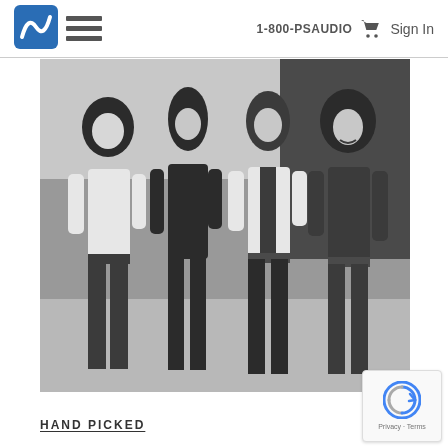1-800-PSAUDIO  Sign In
[Figure (photo): Black and white promotional photo of a four-member rock band standing outdoors. All members have long hair and are wearing 1970s-style clothing including flared jeans and leather jackets.]
HAND PICKED